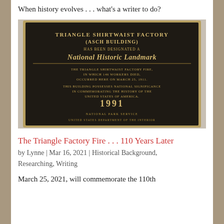When history evolves . . . what's a writer to do?
[Figure (photo): A dark bronze historical plaque mounted on a wall reading: TRIANGLE SHIRTWAIST FACTORY (ASCH BUILDING) HAS BEEN DESIGNATED A NATIONAL HISTORIC LANDMARK. The Triangle Shirtwaist Factory fire, in which 146 workers died, occurred here on March 25, 1911. This building possesses national significance in commemorating the history of the United States of America. 1991. National Park Service, United States Department of the Interior.]
The Triangle Factory Fire . . . 110 Years Later
by Lynne | Mar 16, 2021 | Historical Background, Researching, Writing
March 25, 2021, will commemorate the 110th